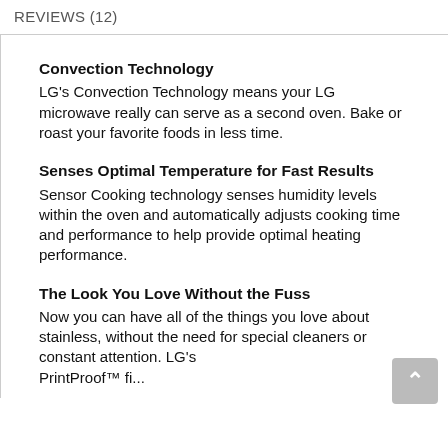REVIEWS (12)
Convection Technology
LG's Convection Technology means your LG microwave really can serve as a second oven. Bake or roast your favorite foods in less time.
Senses Optimal Temperature for Fast Results
Sensor Cooking technology senses humidity levels within the oven and automatically adjusts cooking time and performance to help provide optimal heating performance.
The Look You Love Without the Fuss
Now you can have all of the things you love about stainless, without the need for special cleaners or constant attention. LG's PrintProof™ fi...